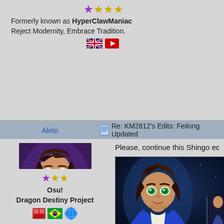[Figure (other): Row of stars: 1 purple star, 3 gold stars]
Formerly known as HyperClawManiac
Reject Modernity, Embrace Tradition.
[Figure (other): UK flag and YouTube icon]
Akito    Re: KM2812's Edits: Feilong Updated
[Figure (illustration): Anime-style avatar of a young man with brown hair and green eyes, wearing orange and purple]
[Figure (other): Row of stars: 1 purple star, 2 gold stars]
Osu!
Dragon Destiny Project
[Figure (other): DS icon, Brazil flag, globe icon]
Please, continue this Shingo edit
[Figure (screenshot): Game screenshot showing anime-style character with brown hair and green eyes in a blue jacket, game background]